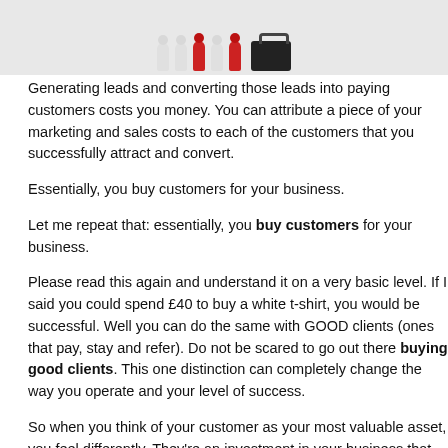[Figure (illustration): 3D figurines of white and red humanoid characters with a dark briefcase on a grey background]
Generating leads and converting those leads into paying customers costs you money. You can attribute a piece of your marketing and sales costs to each of the customers that you successfully attract and convert.
Essentially, you buy customers for your business.
Let me repeat that: essentially, you buy customers for your business.
Please read this again and understand it on a very basic level. If I said you could spend £40 to buy a white t-shirt, you would be successful. Well you can do the same with GOOD clients (ones that pay, stay and refer). Do not be scared to go out there buying good clients. This one distinction can completely change the way you operate and your level of success.
So when you think of your customer as your most valuable asset, you feel differently. They're an investment in your business that you expect to see a return on.
As with any investment, you not only want to see a return, but you want the best return possible. In this case, you could try to reduce your marketing costs to improve profit margins, but the easiest way to minimise the cost of a customer is to retain existing ones, as they require less of time and money to keep.